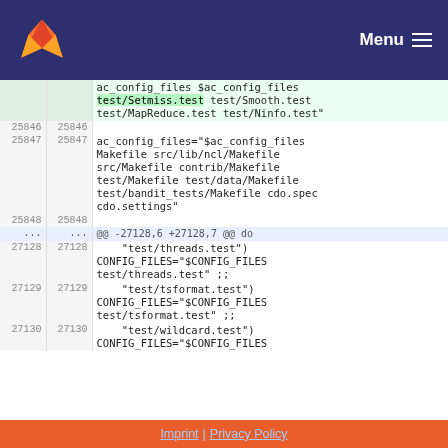Menu
| line_old | line_new | code |
| --- | --- | --- |
|  |  | ac_config_files $ac_config_files test/Setmiss.test test/Smooth.test test/MapReduce.test test/Ninfo.test" |
| 25846 | 25846 |  |
| 25847 | 25847 | ac_config_files="$ac_config_files Makefile src/lib/ncl/Makefile src/Makefile contrib/Makefile test/Makefile test/data/Makefile test/bandit_tests/Makefile cdo.spec cdo.settings" |
| 25848 | 25848 |  |
| ... | ... | @@ -27128,6 +27128,7 @@ do |
| 27128 | 27128 | "test/threads.test") CONFIG_FILES="$CONFIG_FILES test/threads.test" ;; |
| 27129 | 27129 | "test/tsformat.test") CONFIG_FILES="$CONFIG_FILES test/tsformat.test" ;; |
| 27130 | 27130 | "test/wildcard.test") CONFIG_FILES="$CONFIG_FILES |
Imprint | Privacy Policy